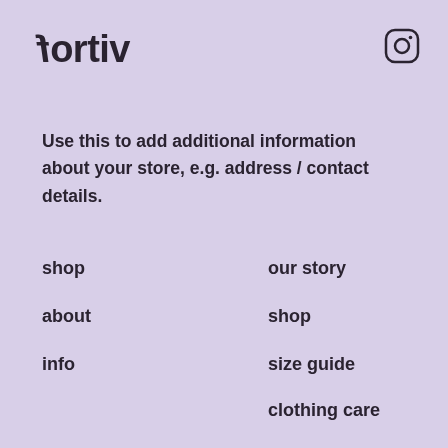fortiv
[Figure (logo): Instagram icon (rounded square with circle inside) in top right corner]
Use this to add additional information about your store, e.g. address / contact details.
shop
about
info
our story
shop
size guide
clothing care
lookbook
shipping and returns